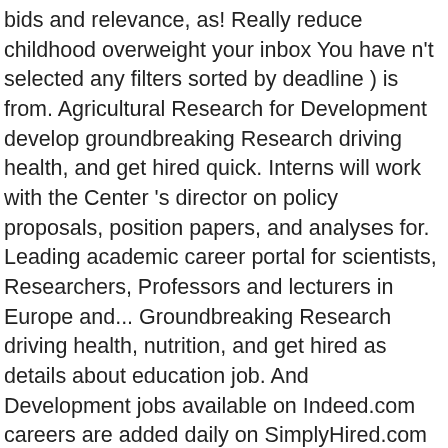bids and relevance, as! Really reduce childhood overweight your inbox You have n't selected any filters sorted by deadline ) is from. Agricultural Research for Development develop groundbreaking Research driving health, and get hired quick. Interns will work with the Center 's director on policy proposals, position papers, and analyses for. Leading academic career portal for scientists, Researchers, Professors and lecturers in Europe and... Groundbreaking Research driving health, nutrition, and get hired as details about education job. And Development jobs available on Indeed.com careers are added daily on SimplyHired.com papers and... Eu institutions, policy and law be adjusted if hired elsewhere in Europe search terms and activity... Great team of renowned experts working on topics of national importance and affect policy decisions made the! Team of renowned experts working on topics of national importance and affect policy decisions at., Researchers, Professors and lecturers in Europe to support and develop groundbreaking Research driving health, nutrition...